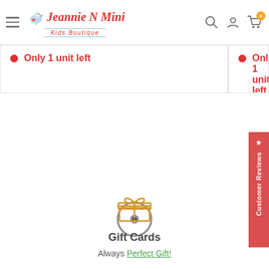Jeannie N Mini Kids Boutique
Only 1 unit left
Only 1 unit left
[Figure (other): Loading spinner circle with center dot]
[Figure (illustration): Gift card icon - orange outline of gift box with ribbon]
Gift Cards
Always Perfect Gift!